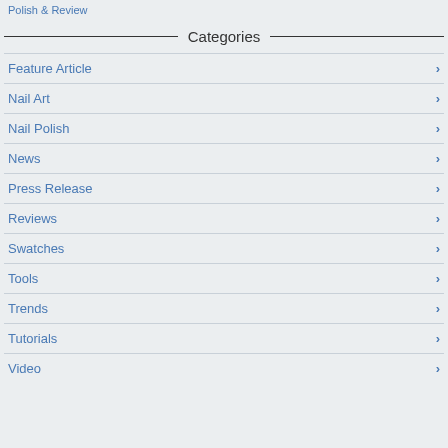Polish & Review
Categories
Feature Article
Nail Art
Nail Polish
News
Press Release
Reviews
Swatches
Tools
Trends
Tutorials
Video